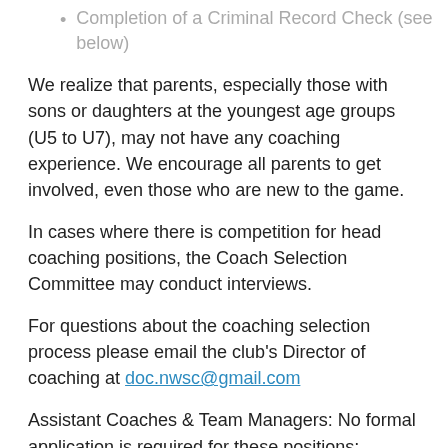Completion of a Criminal Record Check (see below)
We realize that parents, especially those with sons or daughters at the youngest age groups (U5 to U7), may not have any coaching experience. We encourage all parents to get involved, even those who are new to the game.
In cases where there is competition for head coaching positions, the Coach Selection Committee may conduct interviews.
For questions about the coaching selection process please email the club's Director of coaching at doc.nwsc@gmail.com
Assistant Coaches & Team Managers: No formal application is required for these positions; however, all assistant coaches and team managers are